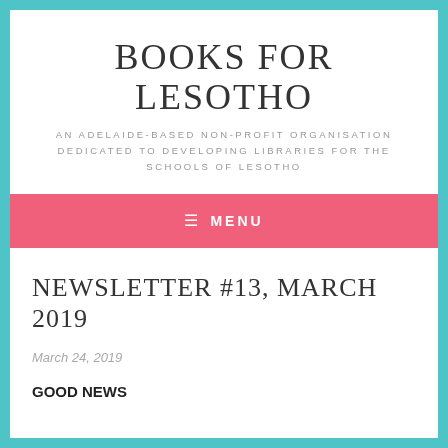BOOKS FOR LESOTHO
AN ADELAIDE-BASED NON-PROFIT ORGANISATION DEDICATED TO DEVELOPING LIBRARIES FOR THE SCHOOLS OF LESOTHO
≡  MENU
NEWSLETTER #13, MARCH 2019
March 24, 2019
GOOD NEWS